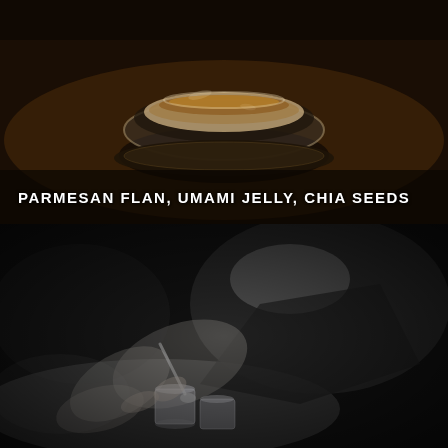[Figure (photo): Close-up food photo of a glass bowl/dish containing a layered preparation (Parmesan flan, umami jelly, chia seeds) on a dark surface. Warm-toned, dark background.]
PARMESAN FLAN, UMAMI JELLY, CHIA SEEDS
[Figure (photo): Black and white photo of a chef's hands working with small metal cups/containers, using a spoon, on a table. Chef is wearing dark jacket and white undershirt.]